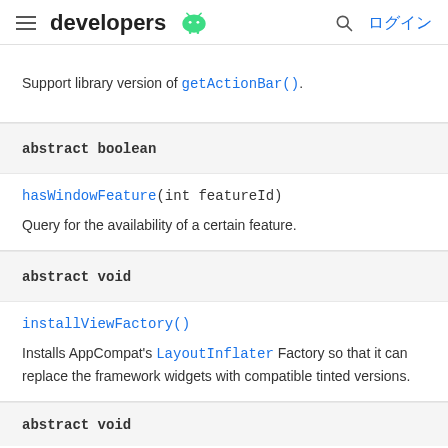developers
Support library version of getActionBar().
abstract boolean
hasWindowFeature(int featureId)
Query for the availability of a certain feature.
abstract void
installViewFactory()
Installs AppCompat's LayoutInflater Factory so that it can replace the framework widgets with compatible tinted versions.
abstract void